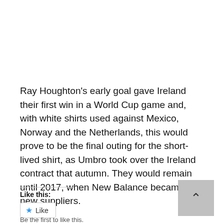Ray Houghton's early goal gave Ireland their first win in a World Cup game and, with white shirts used against Mexico, Norway and the Netherlands, this would prove to be the final outing for the short-lived shirt, as Umbro took over the Ireland contract that autumn. They would remain until 2017, when New Balance became the new suppliers.
Like this:
Like
Be the first to like this.